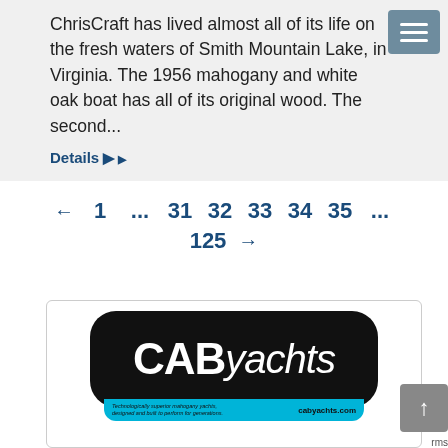ChrisCraft has lived almost all of its life on the fresh waters of Smith Mountain Lake, in Virginia. The 1956 mahogany and white oak boat has all of its original wood. The second...
Details ▶
← 1 ... 31 32 33 34 35 ... 125 →
[Figure (logo): CAByachts logo on black rounded rectangle background with cyan/blue bar at bottom reading 'Technologically superior mahogany yachts, designed and built to perform for generations. cabyachts.com']